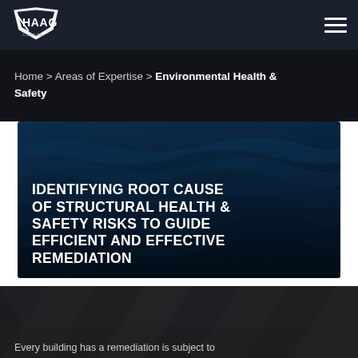[Figure (logo): HAAG Canada logo — white angular shield/checkmark with HAAG text and Canada subtitle]
Home > Areas of Expertise > Environmental Health & Safety
[Figure (photo): Dark blue macro photo of layered rock or stone texture used as hero banner background]
IDENTIFYING ROOT CAUSE OF STRUCTURAL HEALTH & SAFETY RISKS TO GUIDE EFFICIENT AND EFFECTIVE REMEDIATION
Every building has a remediation is subject to